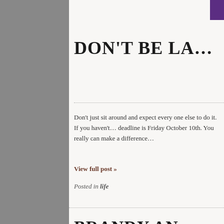DON'T BE LA…
Don't just sit around and expect every one else to do it. If you haven't… deadline is Friday October 10th. You really can make a difference…
View full post »
Posted in life
BRANDY AN…
Sorry for the delay folks! Here's a sh…